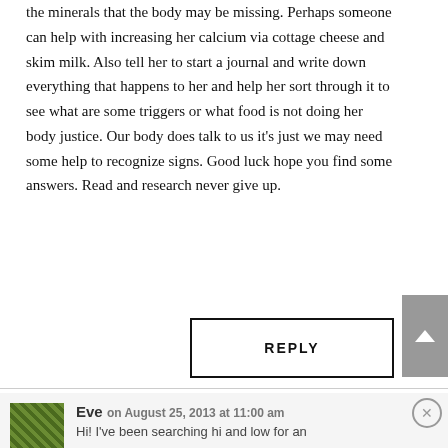the minerals that the body may be missing. Perhaps someone can help with increasing her calcium via cottage cheese and skim milk. Also tell her to start a journal and write down everything that happens to her and help her sort through it to see what are some triggers or what food is not doing her body justice. Our body does talk to us it's just we may need some help to recognize signs. Good luck hope you find some answers. Read and research never give up.
REPLY
Eve on August 25, 2013 at 11:00 am
Hi! I've been searching hi and low for an